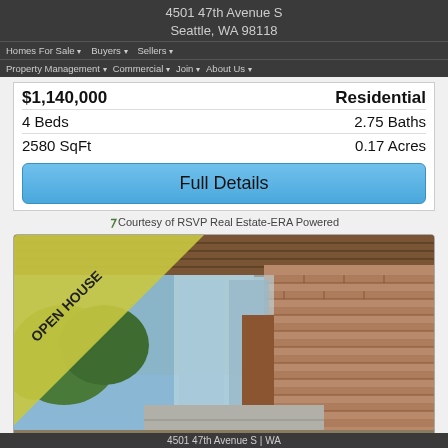4501 47th Avenue S
Seattle, WA 98118
Homes For Sale | Buyers | Sellers | Property Management | Commercial | Join | About Us
$1,140,000 | Residential
4 Beds | 2.75 Baths
2580 SqFt | 0.17 Acres
Full Details
Courtesy of RSVP Real Estate-ERA Powered
[Figure (photo): Exterior photo of a mid-century modern home with wood ceiling, brick facade, glass entry door, and concrete pathway. An 'OPEN HOUSE' diagonal banner is overlaid in the upper-left corner.]